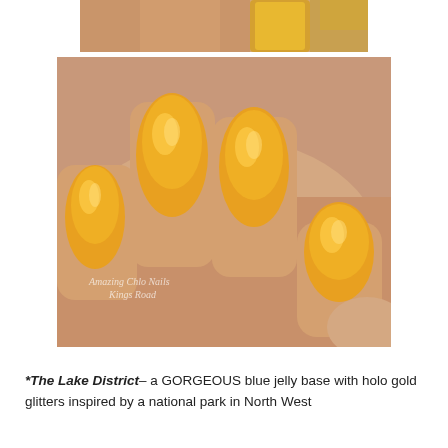[Figure (photo): Partial top photo showing a hand holding an orange/gold nail polish bottle, cropped at top of page]
[Figure (photo): Close-up photo of a hand with four fingers showing orange/gold shimmery nail polish. Watermark reads 'Amazing Chlo Nails Kings Road' in lower left corner.]
*The Lake District– a GORGEOUS blue jelly base with holo gold glitters inspired by a national park in North West